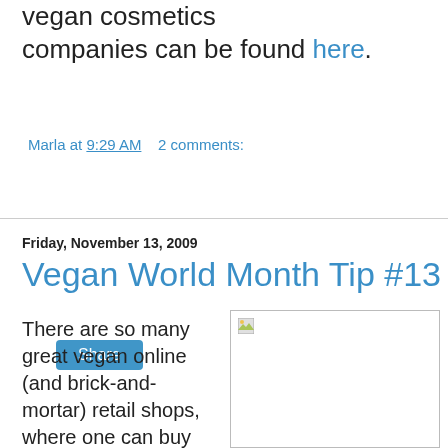vegan cosmetics companies can be found here.
Marla at 9:29 AM   2 comments:
Share
Friday, November 13, 2009
Vegan World Month Tip #13
There are so many great vegan online (and brick-and-mortar) retail shops, where one can buy anything from shoes and jewelry to cosmetics and personal care products. Visit
[Figure (photo): Broken image placeholder with small icon in top-left corner]